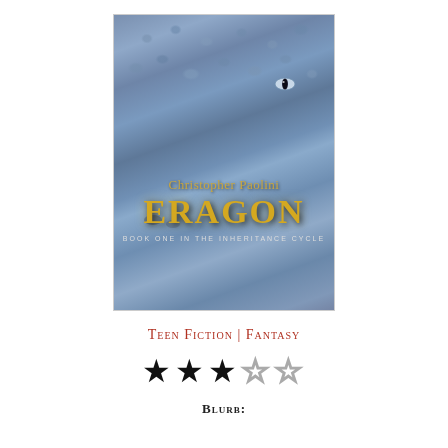[Figure (illustration): Book cover of Eragon by Christopher Paolini showing a close-up of a blue dragon's face with scales, one eye visible. Title 'ERAGON' in gold lettering, author name 'Christopher Paolini' above it, subtitle 'BOOK ONE IN THE INHERITANCE CYCLE' at the bottom of the cover.]
Teen Fiction | Fantasy
[Figure (other): Star rating showing 3 out of 5 stars: three filled black stars followed by two empty/outline stars.]
Blurb: